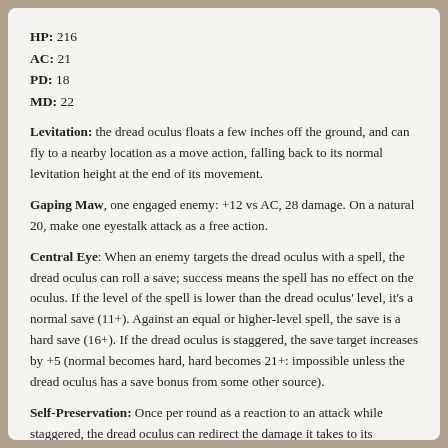HP: 216
AC: 21
PD: 18
MD: 22
Levitation: the dread oculus floats a few inches off the ground, and can fly to a nearby location as a move action, falling back to its normal levitation height at the end of its movement.
Gaping Maw, one engaged enemy: +12 vs AC, 28 damage. On a natural 20, make one eyestalk attack as a free action.
Central Eye: When an enemy targets the dread oculus with a spell, the dread oculus can roll a save; success means the spell has no effect on the oculus. If the level of the spell is lower than the dread oculus' level, it's a normal save (11+). Against an equal or higher-level spell, the save is a hard save (16+). If the dread oculus is staggered, the save target increases by +5 (normal becomes hard, hard becomes 21+: impossible unless the dread oculus has a save bonus from some other source).
Self-Preservation: Once per round as a reaction to an attack while staggered, the dread oculus can redirect the damage it takes to its eyestalks instead.